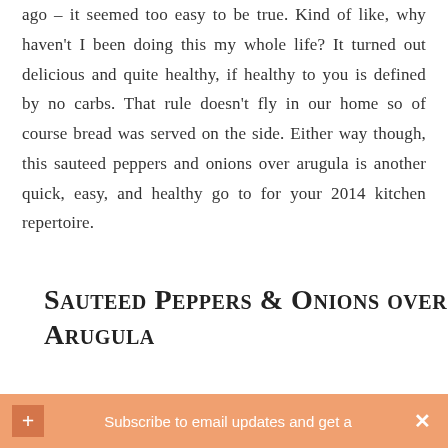ago – it seemed too easy to be true. Kind of like, why haven't I been doing this my whole life? It turned out delicious and quite healthy, if healthy to you is defined by no carbs. That rule doesn't fly in our home so of course bread was served on the side. Either way though, this sauteed peppers and onions over arugula is another quick, easy, and healthy go to for your 2014 kitchen repertoire.
Sauteed Peppers & Onions over Arugula
Subscribe to email updates and get a